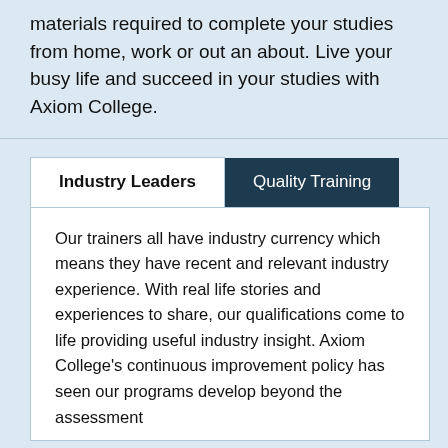materials required to complete your studies from home, work or out an about. Live your busy life and succeed in your studies with Axiom College.
Industry Leaders | Quality Training
Our trainers all have industry currency which means they have recent and relevant industry experience. With real life stories and experiences to share, our qualifications come to life providing useful industry insight. Axiom College's continuous improvement policy has seen our programs develop beyond the assessment